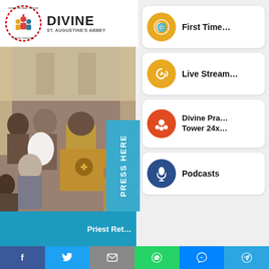[Figure (logo): Divine Retreat Centre / St. Augustine's Abbey circular logo with figures and text, followed by DIVINE ST. AUGUSTINE'S ABBEY text]
[Figure (photo): People seated in a church/abbey, viewed from behind, wearing traditional/ceremonial garments]
PRESS HERE
Priest Ret…
First Time…
Live Stream…
Divine Pra… Tower 24x…
Podcasts
[Figure (infographic): Social media share bar with Facebook, Twitter, Email, WhatsApp, Messenger, Telegram icons]